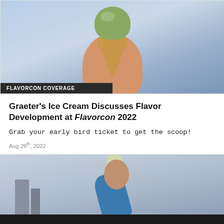[Figure (photo): Photo of a hand holding a green ice cream scoop in a waffle cone against a blue sky background, with a dark banner reading FLAVORCON COVERAGE at the bottom left]
Graeter's Ice Cream Discusses Flavor Development at Flavorcon 2022
Grab your early bird ticket to get the scoop!
Aug 29th, 2022
[Figure (photo): Photo of a person holding up an ice cream bar or popsicle against an urban skyline background]
FAQ  Contact Us  Editorial Submissions  Advertise  Privacy Policy  Legal Terms  Site Map